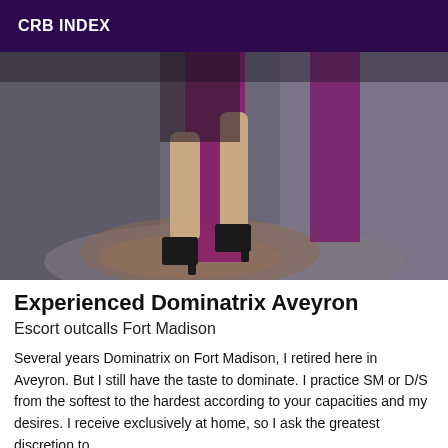CRB INDEX
[Figure (photo): Photo of a person in a purple/magenta dress and black high heels sitting on rumpled gray fabric/bed, legs visible from mid-thigh down, dark moody lighting]
Experienced Dominatrix Aveyron
Escort outcalls Fort Madison
Several years Dominatrix on Fort Madison, I retired here in Aveyron. But I still have the taste to dominate. I practice SM or D/S from the softest to the hardest according to your capacities and my desires. I receive exclusively at home, so I ask the greatest discretion to